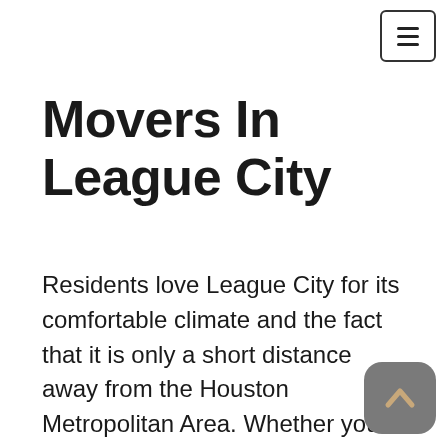☰ (hamburger menu button)
Movers In League City
Residents love League City for its comfortable climate and the fact that it is only a short distance away from the Houston Metropolitan Area. Whether you are moving within the area or across the nation, Movers Guys can help you get to your destination efficiently and within your budget. Our League City movers are